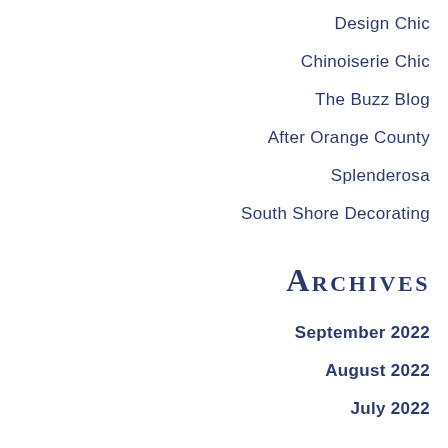Design Chic
Chinoiserie Chic
The Buzz Blog
After Orange County
Splenderosa
South Shore Decorating
Archives
September 2022
August 2022
July 2022